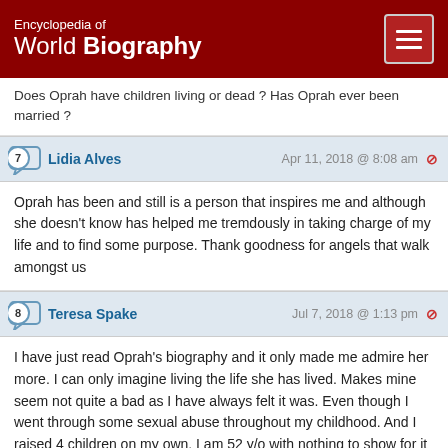Encyclopedia of World Biography
Does Oprah have children living or dead ? Has Oprah ever been married ?
7  Lidia Alves  Apr 11, 2018 @ 8:08 am
Oprah has been and still is a person that inspires me and although she doesn't know has helped me tremdously in taking charge of my life and to find some purpose. Thank goodness for angels that walk amongst us
8  Teresa Spake  Jul 7, 2018 @ 1:13 pm
I have just read Oprah's biography and it only made me admire her more. I can only imagine living the life she has lived. Makes mine seem not quite a bad as I have always felt it was. Even though I went through some sexual abuse throughout my childhood. And I raised 4 children on my own. I am 52 y/o with nothing to show for it at all. Besides my beautiful children and grand-children. Sometimes I wish I just had a home of my own so that they would have somewhere to come to Gramma